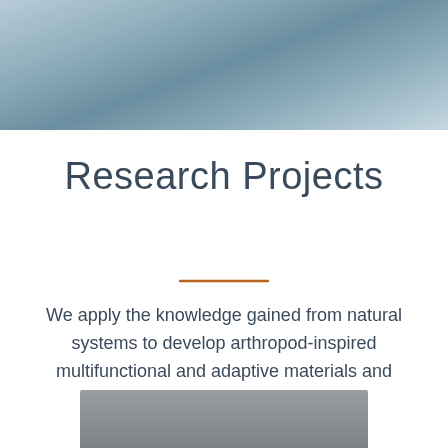[Figure (photo): Abstract blurred blue-grey gradient background image at the top of the page]
Research Projects
We apply the knowledge gained from natural systems to develop arthropod-inspired multifunctional and adaptive materials and interfaces.
[Figure (photo): Partial grey/dark image at the bottom of the page, cropped]